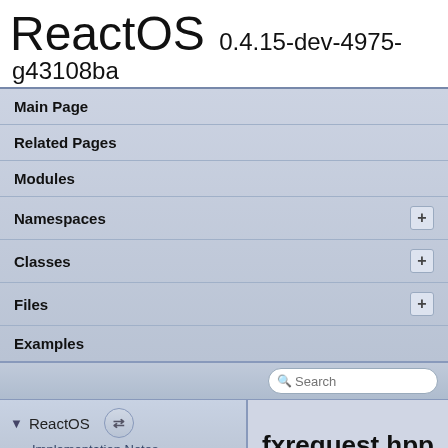ReactOS 0.4.15-dev-4975-g43108ba
Main Page
Related Pages
Modules
Namespaces
Classes
Files
Examples
ReactOS
Implementation Notes
fxrequest.hpp
sdk
lib
drivers
wdf
shared
inc
private
common